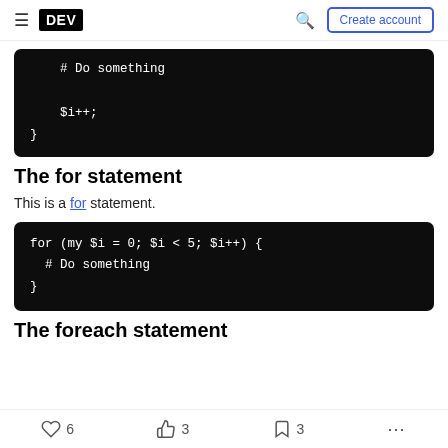DEV | Create account
[Figure (screenshot): Dark code block showing: # Do something, $i++;, }]
The for statement
This is a for statement.
[Figure (screenshot): Dark code block showing: for (my $i = 0; $i < 5; $i++) { # Do something }]
The foreach statement
6  3  3  ...